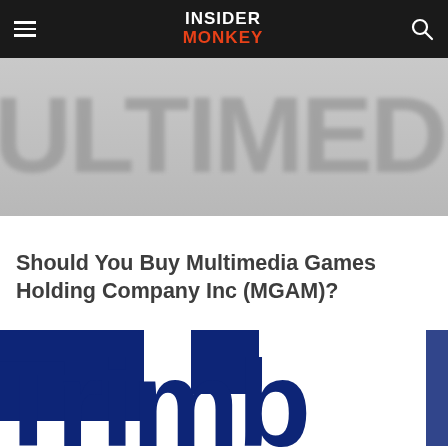INSIDER MONKEY
[Figure (photo): Blurred banner image showing large gray text reading 'MULTIMEDIA GA' (cropped), serving as article header background image]
Should You Buy Multimedia Games Holding Company Inc (MGAM)?
[Figure (logo): Partial view of large dark navy blue bold text reading 'Trimb' (cropped), likely the Trimble logo or branding]